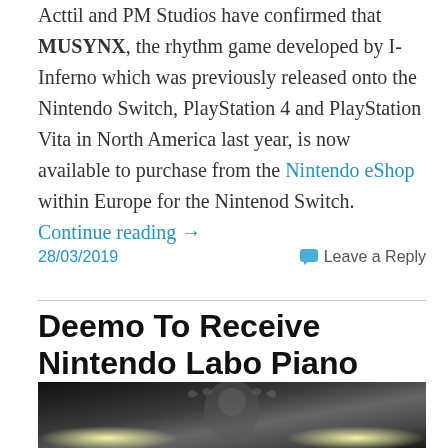Acttil and PM Studios have confirmed that MUSYNX, the rhythm game developed by I-Inferno which was previously released onto the Nintendo Switch, PlayStation 4 and PlayStation Vita in North America last year, is now available to purchase from the Nintendo eShop within Europe for the Nintenod Switch. Continue reading →
28/03/2019    Leave a Reply
Deemo To Receive Nintendo Labo Piano Support In Future Update
[Figure (photo): Dark atmospheric image showing what appears to be a decorative figure or mask with glowing lights on either side, likely game artwork for Deemo]